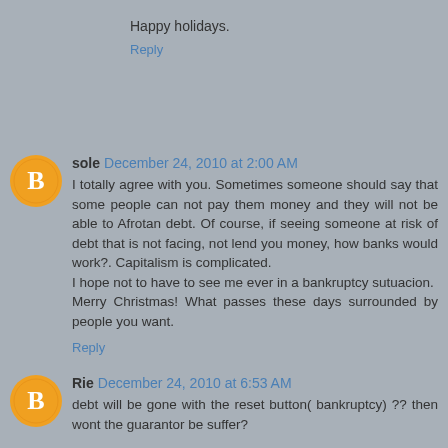Happy holidays.
Reply
sole December 24, 2010 at 2:00 AM
I totally agree with you. Sometimes someone should say that some people can not pay them money and they will not be able to Afrotan debt. Of course, if seeing someone at risk of debt that is not facing, not lend you money, how banks would work?. Capitalism is complicated.
I hope not to have to see me ever in a bankruptcy sutuacion.
Merry Christmas! What passes these days surrounded by people you want.
Reply
Rie December 24, 2010 at 6:53 AM
debt will be gone with the reset button( bankruptcy) ?? then wont the guarantor be suffer?